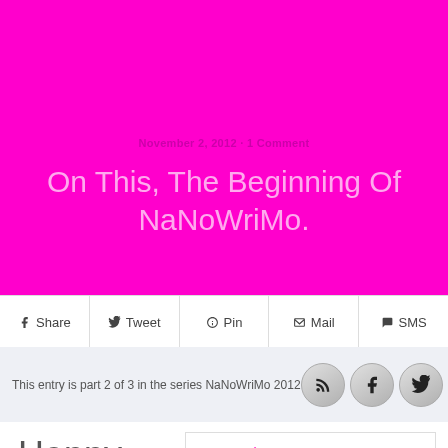Sidney Bristol
November 2, 2012 · 1 Comment
On This, The Beginning Of NaNoWriMo.
Share  Tweet  Pin  Mail  SMS
This entry is part 2 of 3 in the series NaNoWriMo 2012
Happy NaNoWri
NaNoWriMo 2012
A new NaNoWriMo